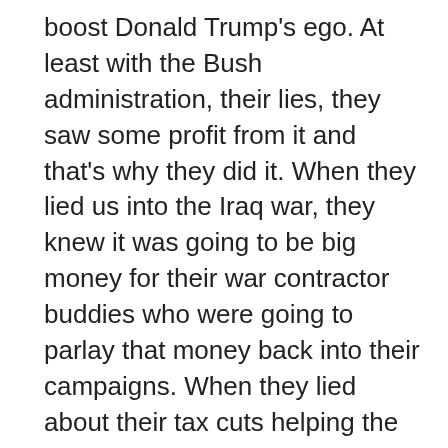boost Donald Trump's ego. At least with the Bush administration, their lies, they saw some profit from it and that's why they did it. When they lied us into the Iraq war, they knew it was going to be big money for their war contractor buddies who were going to parlay that money back into their campaigns. When they lied about their tax cuts helping the economy, they knew that the tax cuts were going to help their wealthy buddies and themselves, who then would put that money back into the campaign. You see where I'm going with this. Donald Trump's lies only serve to feed his fragile ego. There is nothing in this for the country. It's only about him. Every lie that he gets out there and tells is to benefit him, to make himself look better, or sometimes, to make Democrats look